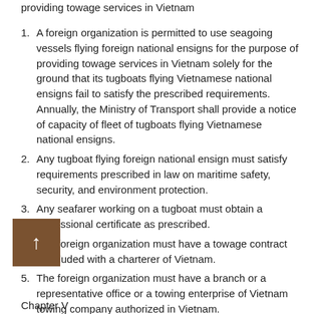providing towage services in Vietnam
1. A foreign organization is permitted to use seagoing vessels flying foreign national ensigns for the purpose of providing towage services in Vietnam solely for the ground that its tugboats flying Vietnamese national ensigns fail to satisfy the prescribed requirements. Annually, the Ministry of Transport shall provide a notice of capacity of fleet of tugboats flying Vietnamese national ensigns.
2. Any tugboat flying foreign national ensign must satisfy requirements prescribed in law on maritime safety, security, and environment protection.
3. Any seafarer working on a tugboat must obtain a professional certificate as prescribed.
4. The foreign organization must have a towage contract concluded with a charterer of Vietnam.
5. The foreign organization must have a branch or a representative office or a towing enterprise of Vietnam towing company authorized in Vietnam.
Chapter V